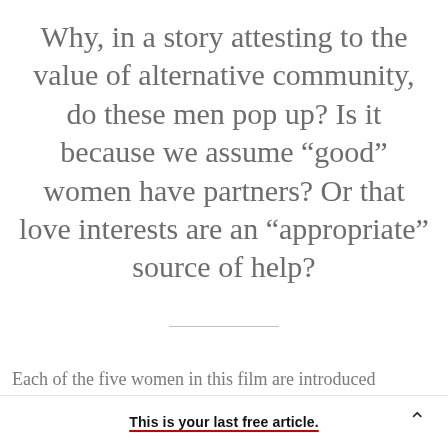Why, in a story attesting to the value of alternative community, do these men pop up? Is it because we assume “good” women have partners? Or that love interests are an “appropriate” source of help?
Each of the five women in this film are introduced
This is your last free article.